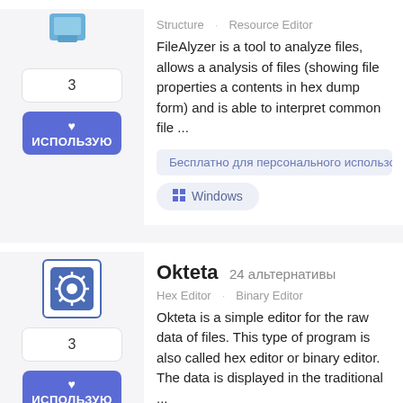[Figure (screenshot): FileAlyzer app icon - light blue computer/document icon]
3
ИСПОЛЬЗУЮ
Structure   Resource Editor
FileAlyzer is a tool to analyze files, allows a analysis of files (showing file properties a contents in hex dump form) and is able to interpret common file ...
Бесплатно для персонального использо
Windows
[Figure (logo): Okteta KDE app icon - blue square with KDE gear logo]
3
ИСПОЛЬЗУЮ
Okteta
24 альтернативы
Hex Editor   Binary Editor
Okteta is a simple editor for the raw data of files. This type of program is also called hex editor or binary editor. The data is displayed in the traditional ...